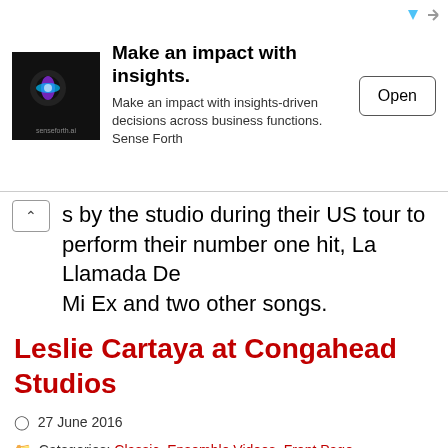[Figure (screenshot): Advertisement banner for senseforth.ai showing logo, headline 'Make an impact with insights.', subtext, and Open button]
s by the studio during their US tour to perform their number one hit, La Llamada De Mi Ex and two other songs.
Leslie Cartaya at Congahead Studios
27 June 2016
Categories: Classic, Ensemble Videos, Front Page Feature, Photos, Solo Videos, Studio Photos, Videos
Tags: bolero, cha cha cha, cohen, cuba, cuban, dance, javier raez, leslie cartaya, mambo, martin cohen, Matthew Ramsey, Chl...